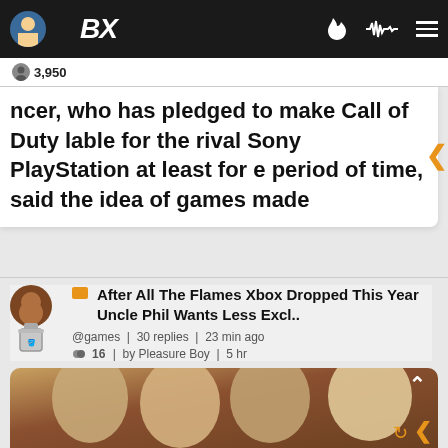BX | 3,950
ncer, who has pledged to make Call of Duty lable for the rival Sony PlayStation at least for e period of time, said the idea of games made
After All The Flames Xbox Dropped This Year Uncle Phil Wants Less Excl.. @games | 30 replies | 23 min ago 16 | by Pleasure Boy | 5 hr
[Figure (photo): Photo of four women posing together indoors with warm lighting]